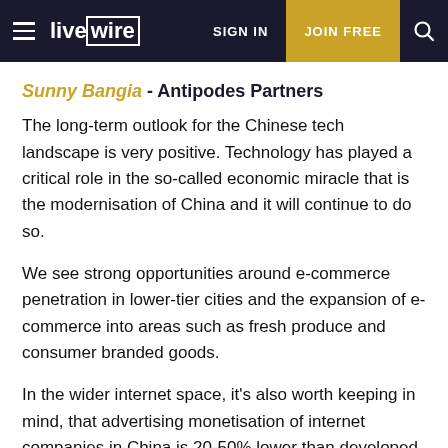live wire — SIGN IN | JOIN FREE
Sunny Bangia - Antipodes Partners
The long-term outlook for the Chinese tech landscape is very positive. Technology has played a critical role in the so-called economic miracle that is the modernisation of China and it will continue to do so.
We see strong opportunities around e-commerce penetration in lower-tier cities and the expansion of e-commerce into areas such as fresh produce and consumer branded goods.
In the wider internet space, it's also worth keeping in mind, that advertising monetisation of internet companies in China is 20-50% lower than developed market peers. While we think most will continue to under-monetise relative to their potential as a way of